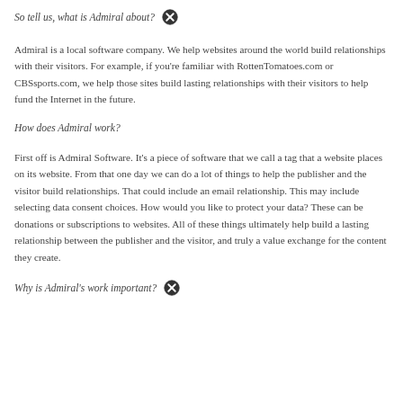So tell us, what is Admiral about?
Admiral is a local software company. We help websites around the world build relationships with their visitors. For example, if you're familiar with RottenTomatoes.com or CBSsports.com, we help those sites build lasting relationships with their visitors to help fund the Internet in the future.
How does Admiral work?
First off is Admiral Software. It's a piece of software that we call a tag that a website places on its website. From that one day we can do a lot of things to help the publisher and the visitor build relationships. That could include an email relationship. This may include selecting data consent choices. How would you like to protect your data? These can be donations or subscriptions to websites. All of these things ultimately help build a lasting relationship between the publisher and the visitor, and truly a value exchange for the content they create.
Why is Admiral's work important?